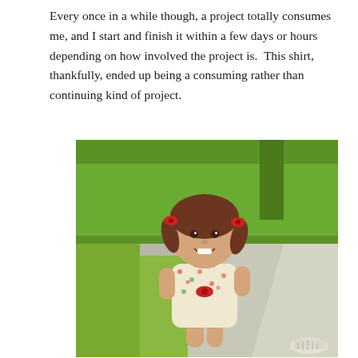Every once in a while though, a project totally consumes me, and I start and finish it within a few days or hours depending on how involved the project is.  This shirt, thankfully, ended up being a consuming rather than continuing kind of project.
[Figure (photo): A young toddler girl with pigtails tied with red bows, wearing a floral dress with red trim and bow, smiling and sitting outdoors on a paved path surrounded by green grass. A white sandal is visible in the lower right corner.]